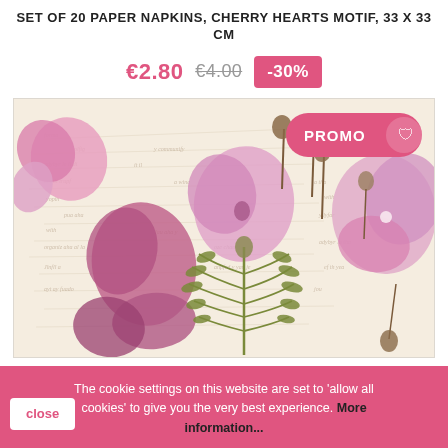SET OF 20 PAPER NAPKINS, CHERRY HEARTS MOTIF, 33 X 33 CM
€2.80  €4.00  -30%
[Figure (photo): Product photo of paper napkins with pressed flower / botanical motif on a cream background with handwritten script. Shows pink poppy-like flowers and green fern leaves pressed onto a vintage letter background. A pink PROMO badge is in the top right corner.]
The cookie settings on this website are set to 'allow all cookies' to give you the very best experience. More information...